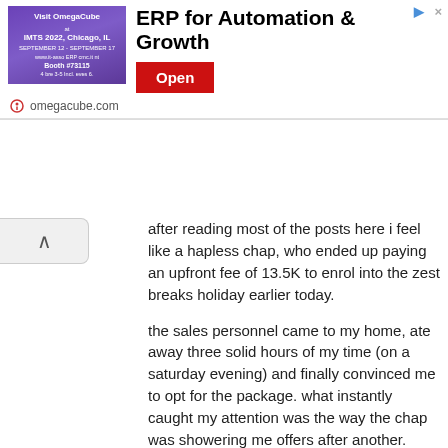[Figure (other): Advertisement banner for OmegaCube ERP software. Shows a purple image on the left with conference/trade show info (IMTS 2022, Chicago, IL, September 12-17), headline 'ERP for Automation & Growth', a red 'Open' button, and footer showing omegacube.com]
after reading most of the posts here i feel like a hapless chap, who ended up paying an upfront fee of 13.5K to enrol into the zest breaks holiday earlier today.
the sales personnel came to my home, ate away three solid hours of my time (on a saturday evening) and finally convinced me to opt for the package. what instantly caught my attention was the way the chap was showering me offers after another. after two hours of his bullying, i finally succumbed and put ink to all joining papers.to get a club membership at 80K and that too for 10 years, i thought was wonderful.. but now having gotten an idea of how bad the availability (of rooms) issue is, i am led to wonder if there could be any way for me to opt out of this and cash out.
i was asked to pay 13.25K initially. It came down to